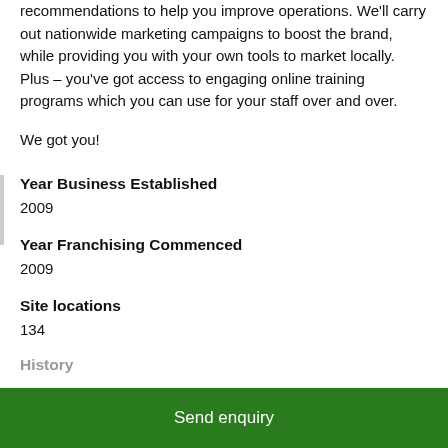recommendations to help you improve operations. We'll carry out nationwide marketing campaigns to boost the brand, while providing you with your own tools to market locally. Plus – you've got access to engaging online training programs which you can use for your staff over and over.
We got you!
Year Business Established
2009
Year Franchising Commenced
2009
Site locations
134
History
Send enquiry